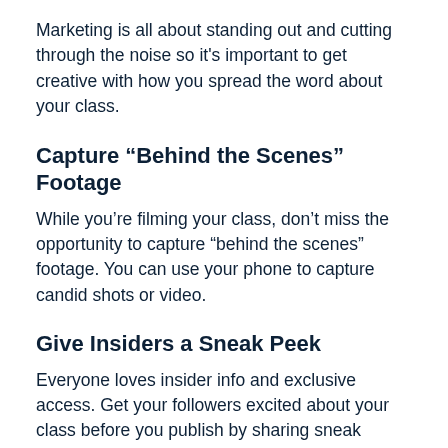Marketing is all about standing out and cutting through the noise so it's important to get creative with how you spread the word about your class.
Capture “Behind the Scenes” Footage
While you’re filming your class, don’t miss the opportunity to capture “behind the scenes” footage. You can use your phone to capture candid shots or video.
Give Insiders a Sneak Peek
Everyone loves insider info and exclusive access. Get your followers excited about your class before you publish by sharing sneak peeks and class teasers, giving them a window